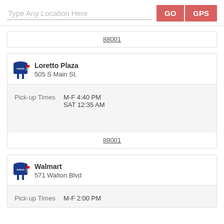Type Any Location Here | GO | GPS
88001
Loretto Plaza
505 S Main St.
Pick-up Times  M-F 4:40 PM  SAT 12:35 AM
88001
Walmart
571 Walton Blvd
Pick-up Times  M-F 2:00 PM